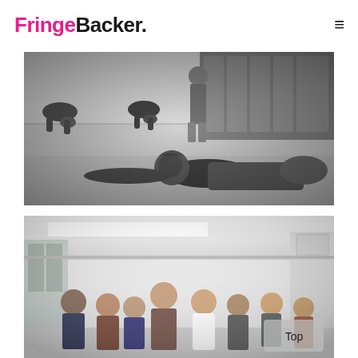FringeBacker.
[Figure (photo): Black and white photo of dancers/performers in a dance studio, some on the floor, some standing, with mirrors visible in the background.]
[Figure (photo): Color photo of a group of people (dancers/performers) posing together in a white studio room with ceiling lights and windows.]